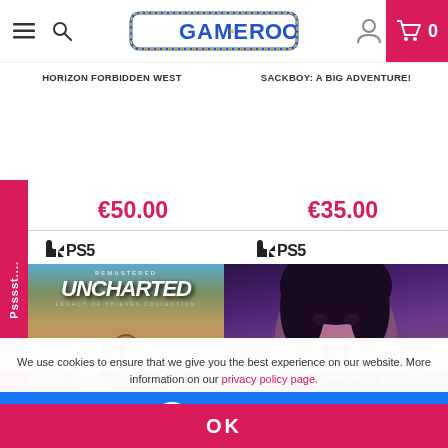GAME ROOM — navigation header with menu, search, logo, user account, and cart (0 items)
HORIZON FORBIDDEN WEST
SACKBOY: A BIG ADVENTURE!
€50.00
€35.00
[Figure (screenshot): PS5 logo on left side]
[Figure (screenshot): PS5 logo on right side]
[Figure (photo): Uncharted: Legacy of Thieves Collection PS5 game cover - Remastered edition showing characters]
[Figure (photo): Forspoken PS5 game cover showing a young woman with purple/gold tones]
Start chat
We use cookies to ensure that we give you the best experience on our website. More information on our privacy policy page.
UNCHARTED: LEGACY OF THIEVES COLLECTION
FORSPOKEN
OK